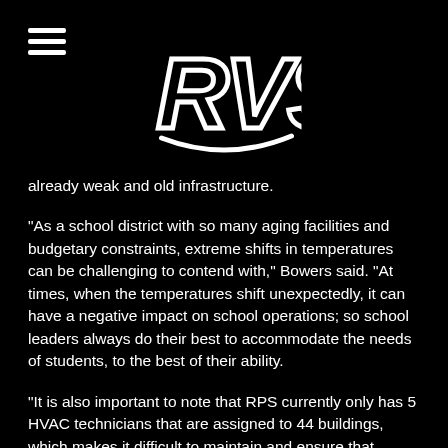RVS logo and hamburger menu
already weak and old infrastructure.
“As a school district with so many aging facilities and budgetary constraints, extreme shifts in temperatures can be challenging to contend with,” Bowers said. “At times, when the temperatures shift unexpectedly, it can have a negative impact on school operations; so school leaders always do their best to accommodate the needs of students, to the best of their ability.
“It is also important to note that RPS currently only has 5 HVAC technicians that are assigned to 44 buildings, which makes it difficult to maintain and ensure that equipment is managed appropriately.”
The state of Richmond’s schools will likely continue to be a